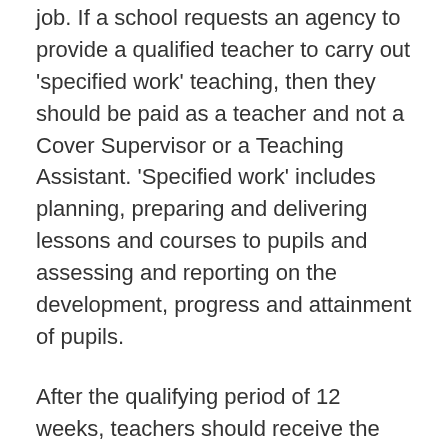job. If a school requests an agency to provide a qualified teacher to carry out 'specified work' teaching, then they should be paid as a teacher and not a Cover Supervisor or a Teaching Assistant. 'Specified work' includes planning, preparing and delivering lessons and courses to pupils and assessing and reporting on the development, progress and attainment of pupils.
After the qualifying period of 12 weeks, teachers should receive the same rate of pay as directly recruited teachers (on the same pay point). In local authority maintained schools, teachers should be paid in accordance with the School Teachers' Pay and Conditions Document (STPCD).
For an agency supply teacher, this would usually be the rate of pay that they would have received had they been